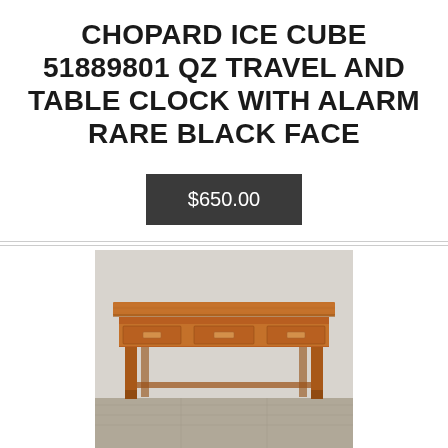CHOPARD ICE CUBE 51889801 QZ TRAVEL AND TABLE CLOCK WITH ALARM RARE BLACK FACE
$650.00
[Figure (photo): Photo of a wooden console table with three drawers and four legs, photographed against a light grey wall on a concrete floor.]